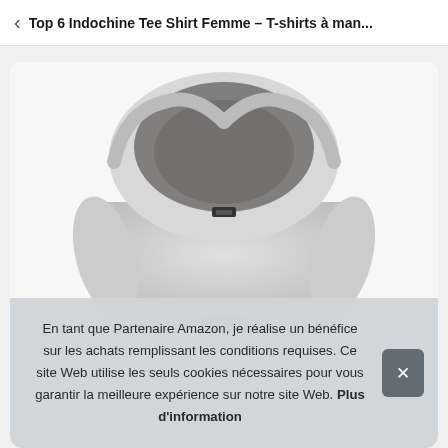Top 6 Indochine Tee Shirt Femme – T-shirts à man...
[Figure (photo): Photo of a light grey hoodie sweatshirt with hood up, small brand label on the drawstring hole area, partially showing a blue graphic below, on a white background inside a product card.]
En tant que Partenaire Amazon, je réalise un bénéfice sur les achats remplissant les conditions requises. Ce site Web utilise les seuls cookies nécessaires pour vous garantir la meilleure expérience sur notre site Web. Plus d'information